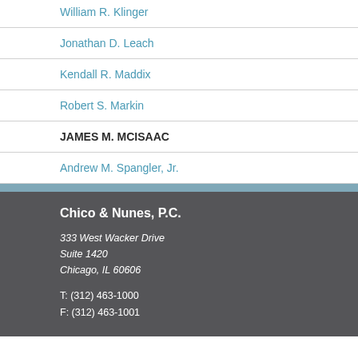William R. Klinger
Jonathan D. Leach
Kendall R. Maddix
Robert S. Markin
JAMES M. MCISAAC
Andrew M. Spangler, Jr.
Chico & Nunes, P.C.
333 West Wacker Drive
Suite 1420
Chicago, IL 60606
T: (312) 463-1000
F: (312) 463-1001